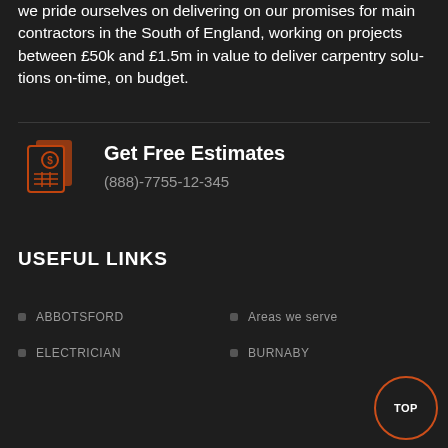we pride ourselves on delivering on our promises for main contractors in the South of England, working on projects between £50k and £1.5m in value to deliver carpentry solu-tions on-time, on budget.
[Figure (illustration): Orange icon of invoice/estimate documents with a dollar sign and calculator grid]
Get Free Estimates
(888)-7755-12-345
USEFUL LINKS
ABBOTSFORD
ELECTRICIAN
Areas we serve
BURNABY